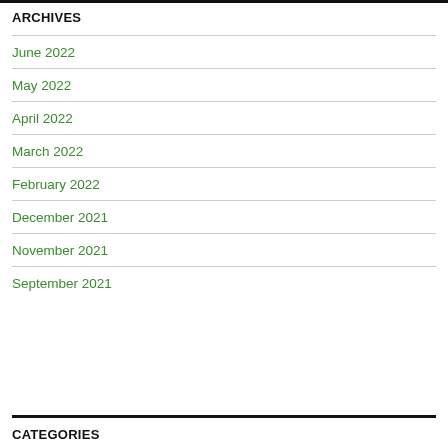ARCHIVES
June 2022
May 2022
April 2022
March 2022
February 2022
December 2021
November 2021
September 2021
CATEGORIES